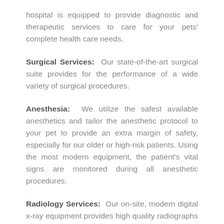hospital is equipped to provide diagnostic and therapeutic services to care for your pets' complete health care needs.
Surgical Services: Our state-of-the-art surgical suite provides for the performance of a wide variety of surgical procedures.
Anesthesia: We utilize the safest available anesthetics and tailor the anesthetic protocol to your pet to provide an extra margin of safety, especially for our older or high-risk patients. Using the most modern equipment, the patient's vital signs are monitored during all anesthetic procedures.
Radiology Services: Our on-site, modern digital x-ray equipment provides high quality radiographs to aid in the diagnosis of many disorders. We are